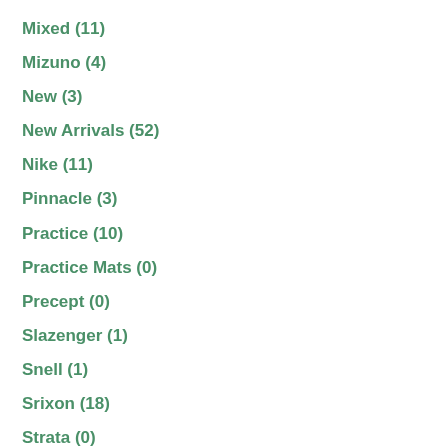Mixed (11)
Mizuno (4)
New (3)
New Arrivals (52)
Nike (11)
Pinnacle (3)
Practice (10)
Practice Mats (0)
Precept (0)
Slazenger (1)
Snell (1)
Srixon (18)
Strata (0)